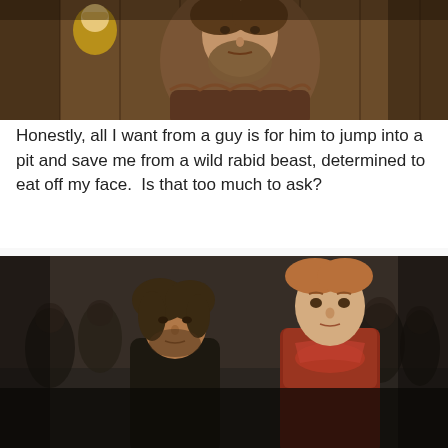[Figure (photo): A bearded man in medieval/fantasy costume looking intensely to the side, with a blonde child visible behind him. Scene appears to be from Game of Thrones — Jaime Lannister with a child, against a wooden background.]
Honestly, all I want from a guy is for him to jump into a pit and save me from a wild rabid beast, determined to eat off my face.  Is that too much to ask?
[Figure (photo): Two characters from Game of Thrones — Jaime Lannister (left, disheveled, dark clothing) and Brienne of Tarth (right, wearing red/rust colored dress, red collar) in a crowd scene in what appears to be a dungeon or arena setting.]